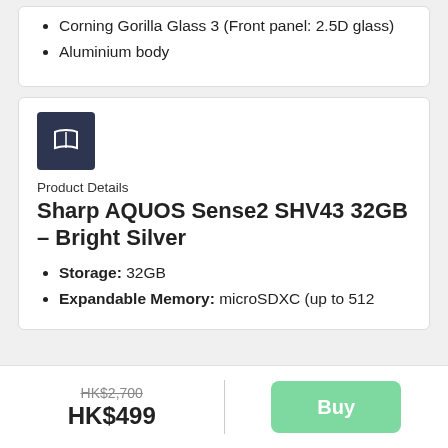Corning Gorilla Glass 3 (Front panel: 2.5D glass)
Aluminium body
[Figure (logo): Dark navy blue square icon with white open book symbol]
Product Details
Sharp AQUOS Sense2 SHV43 32GB – Bright Silver
Storage: 32GB
Expandable Memory: microSDXC (up to 512
HK$2,700
HK$499
Buy